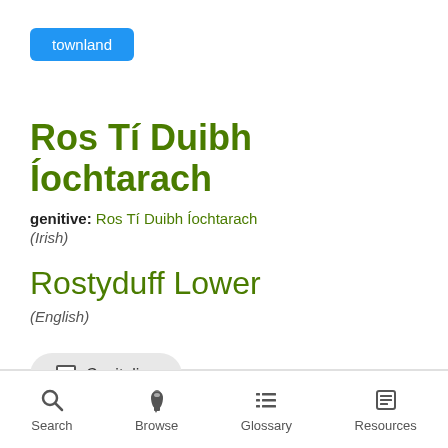townland
Ros Tí Duibh Íochtarach
genitive: Ros Tí Duibh Íochtarach
(Irish)
Rostyduff Lower
(English)
Capitalise
Search  Browse  Glossary  Resources